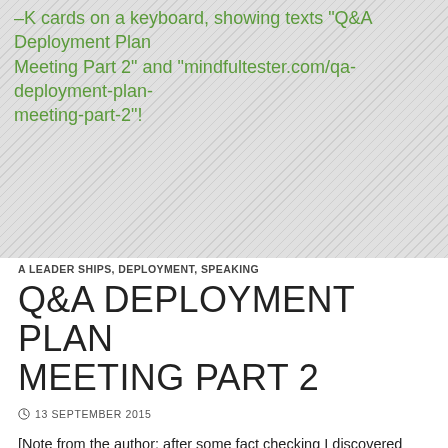[Figure (screenshot): Screenshot area with hatched gray background showing partial green text about keyboard cards with texts 'Q&A Deployment Plan Meeting Part 2' and 'mindfultester.com/qa-deployment-plan-meeting-part-2'!]
A LEADER SHIPS, DEPLOYMENT, SPEAKING
Q&A DEPLOYMENT PLAN MEETING PART 2
13 SEPTEMBER 2015
[Note from the author: after some fact checking I discovered